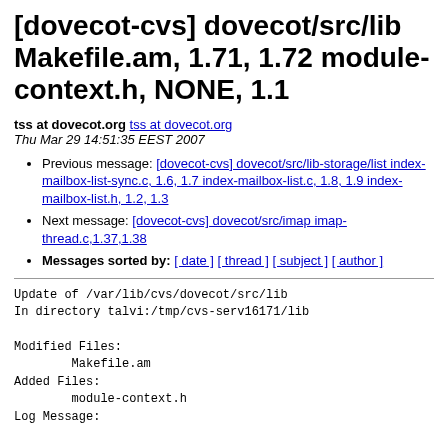[dovecot-cvs] dovecot/src/lib Makefile.am, 1.71, 1.72 module-context.h, NONE, 1.1
tss at dovecot.org tss at dovecot.org
Thu Mar 29 14:51:35 EEST 2007
Previous message: [dovecot-cvs] dovecot/src/lib-storage/list index-mailbox-list-sync.c, 1.6, 1.7 index-mailbox-list.c, 1.8, 1.9 index-mailbox-list.h, 1.2, 1.3
Next message: [dovecot-cvs] dovecot/src/imap imap-thread.c,1.37,1.38
Messages sorted by: [ date ] [ thread ] [ subject ] [ author ]
Update of /var/lib/cvs/dovecot/src/lib
In directory talvi:/tmp/cvs-serv16171/lib

Modified Files:
        Makefile.am
Added Files:
        module-context.h
Log Message: